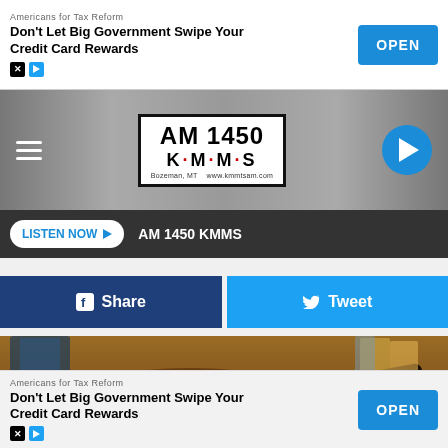[Figure (screenshot): Top advertisement banner: Americans for Tax Reform - Don't Let Big Government Swipe Your Credit Card Rewards with OPEN button]
[Figure (logo): AM 1450 KMMS radio station logo with hamburger menu and play button]
LISTEN NOW  AM 1450 KMMS
[Figure (other): Facebook Share and Twitter Tweet social sharing buttons]
[Figure (photo): Photo of a judge's gavel on a wooden desk]
Ashburn Injury Attorneys - No Win Fee
Injury Attorney | Search Ads
[Figure (screenshot): Bottom advertisement banner: Americans for Tax Reform - Don't Let Big Government Swipe Your Credit Card Rewards with OPEN button]